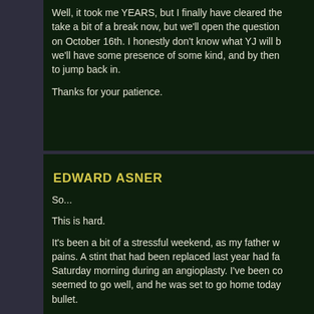Well, it took me YEARS, but I finally have cleared the take a bit of a break now, but we'll open the question on October 16th. I honestly don't know what YJ will b we'll have some presence of some kind, and by then to jump back in.
Thanks for your patience.
EDWARD ASNER
So...
This is hard.
It's been a bit of a stressful weekend, as my father w pains. A stint that had been replaced last year had fa Saturday morning during an angioplasty. I've been co seemed to go well, and he was set to go home today bullet.
But there was a second gun...